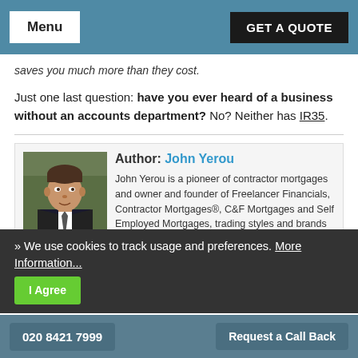Menu | GET A QUOTE
saves you much more than they cost.
Just one last question: have you ever heard of a business without an accounts department? No? Neither has IR35.
[Figure (photo): Author photo of John Yerou, a man in a dark suit outdoors with greenery in background]
Author: John Yerou
John Yerou is a pioneer of contractor mortgages and owner and founder of Freelancer Financials, Contractor Mortgages®, C&F Mortgages and Self Employed Mortgages, trading styles and brands of the award-winning Mortgage Quest Ltd.
Twitter  Facebook  Linkedin
» We use cookies to track usage and preferences. More Information... I Agree
020 8421 7999 | Request a Call Back